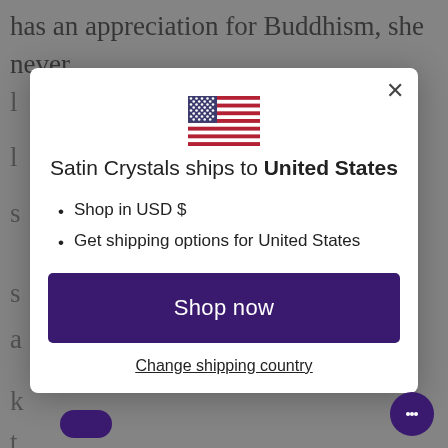has an appreciation for Buddhism, she never
[Figure (screenshot): Modal dialog showing US flag, text 'Satin Crystals ships to United States', bullet points for shop currency and shipping, a 'Shop now' button, and a 'Change shipping country' link]
Satin Crystals ships to United States
Shop in USD $
Get shipping options for United States
Shop now
Change shipping country